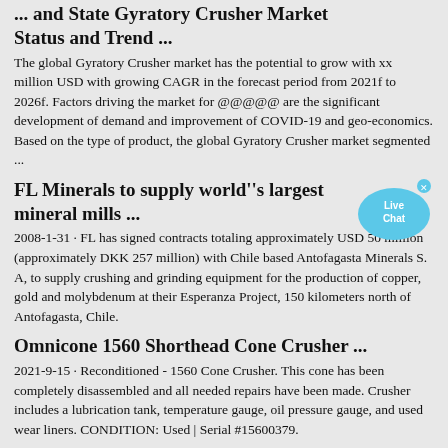... and State Gyratory Crusher Market Status and Trend ...
The global Gyratory Crusher market has the potential to grow with xx million USD with growing CAGR in the forecast period from 2021f to 2026f. Factors driving the market for @@@@@  are the significant development of demand and improvement of COVID-19 and geo-economics. Based on the type of product, the global Gyratory Crusher market segmented ...
FL Minerals to supply world''s largest mineral mills ...
[Figure (illustration): Live Chat speech bubble icon in blue]
2008-1-31 · FL has signed contracts totaling approximately USD 50 million (approximately DKK 257 million) with Chile based Antofagasta Minerals S. A, to supply crushing and grinding equipment for the production of copper, gold and molybdenum at their Esperanza Project, 150 kilometers north of Antofagasta, Chile.
Omnicone 1560 Shorthead Cone Crusher ...
2021-9-15 · Reconditioned - 1560 Cone Crusher. This cone has been completely disassembled and all needed repairs have been made. Crusher includes a lubrication tank, temperature gauge, oil pressure gauge, and used wear liners. CONDITION: Used | Serial #15600379.